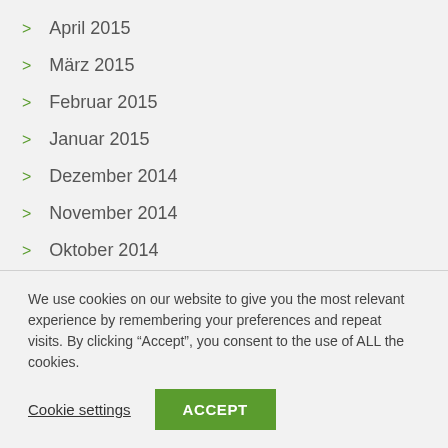April 2015
März 2015
Februar 2015
Januar 2015
Dezember 2014
November 2014
Oktober 2014
September 2014
August 2014
Juli 2014
We use cookies on our website to give you the most relevant experience by remembering your preferences and repeat visits. By clicking “Accept”, you consent to the use of ALL the cookies.
Cookie settings   ACCEPT